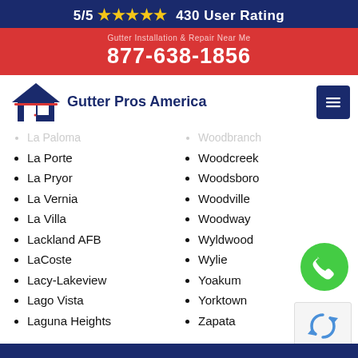5/5 ★★★★★ 430 User Rating
877-638-1856
[Figure (logo): Gutter Pros America logo with house icon]
La Paloma
La Porte
La Pryor
La Vernia
La Villa
Lackland AFB
LaCoste
Lacy-Lakeview
Lago Vista
Laguna Heights
Woodbranch
Woodcreek
Woodsboro
Woodville
Woodway
Wyldwood
Wylie
Yoakum
Yorktown
Zapata